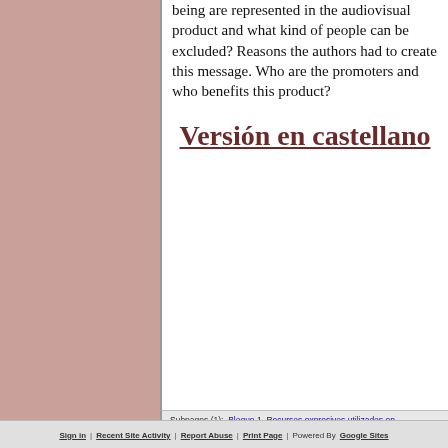What different ways of being are represented in the audiovisual product and what kind of people can be excluded? Reasons the authors had to create this message. Who are the promoters and who benefits this product?
Versión en castellano
Subpages (1):  Bloque 1. Recursos expresivos utilizados en producciones audiovisuales.
Sign in  |  Recent Site Activity  |  Report Abuse  |  Print Page  |  Powered By  Google Sites